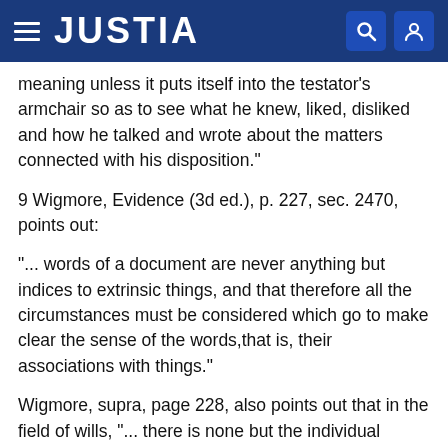JUSTIA
meaning unless it puts itself into the testator's armchair so as to see what he knew, liked, disliked and how he talked and wrote about the matters connected with his disposition."
9 Wigmore, Evidence (3d ed.), p. 227, sec. 2470, points out:
"... words of a document are never anything but indices to extrinsic things, and that therefore all the circumstances must be considered which go to make clear the sense of the words,that is, their associations with things."
Wigmore, supra, page 228, also points out that in the field of wills, "... there is none but the individual standard of meaning to be considered." The same section of Wigmore points out...